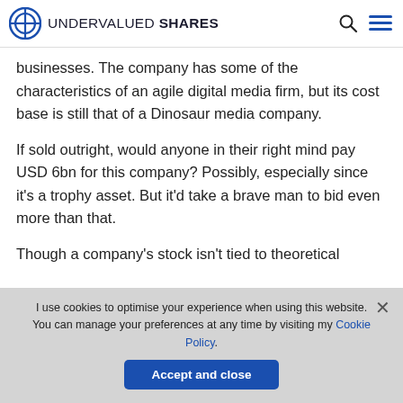UNDERVALUED SHARES
businesses. The company has some of the characteristics of an agile digital media firm, but its cost base is still that of a Dinosaur media company.
If sold outright, would anyone in their right mind pay USD 6bn for this company? Possibly, especially since it's a trophy asset. But it'd take a brave man to bid even more than that.
Though a company's stock isn't tied to theoretical
I use cookies to optimise your experience when using this website. You can manage your preferences at any time by visiting my Cookie Policy.